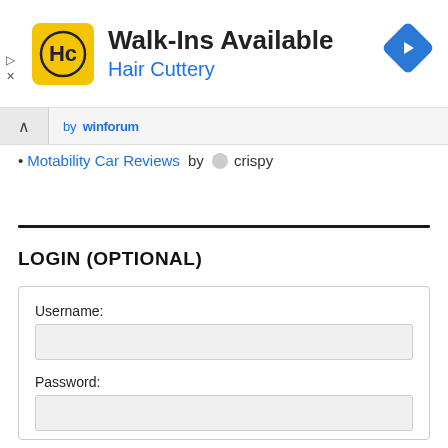[Figure (infographic): Hair Cuttery advertisement banner with yellow HC logo, Walk-Ins Available text, and blue navigation diamond icon]
Motability Car Reviews by crispy
LOGIN (OPTIONAL)
Username:
Password: